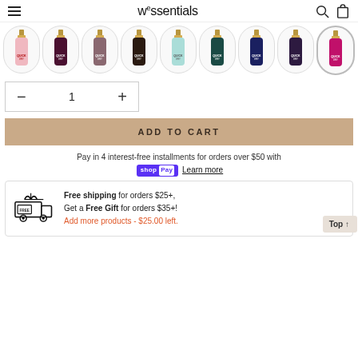wessentials
[Figure (screenshot): Row of 9 nail polish color swatches (pink, dark burgundy, mauve, dark brown/black, mint, dark teal, navy, dark purple, hot pink)]
1
ADD TO CART
Pay in 4 interest-free installments for orders over $50 with shop Pay Learn more
Free shipping for orders $25+, Get a Free Gift for orders $35+! Add more products - $25.00 left.